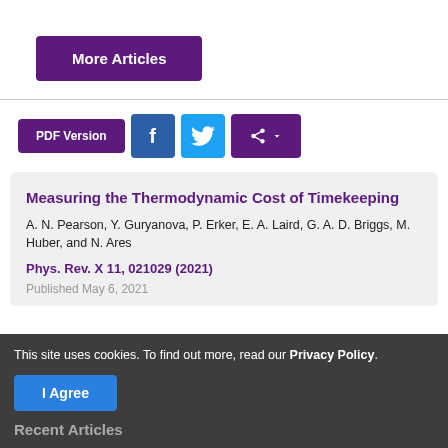[Figure (other): Purple 'More Articles' button]
[Figure (other): Action bar with PDF Version button, Facebook button, Twitter button, and Share button]
Measuring the Thermodynamic Cost of Timekeeping
A. N. Pearson, Y. Guryanova, P. Erker, E. A. Laird, G. A. D. Briggs, M. Huber, and N. Ares
Phys. Rev. X 11, 021029 (2021)
Published May 6, 2021
This site uses cookies. To find out more, read our Privacy Policy.
[Figure (other): Blue 'I Agree' button]
Recent Articles